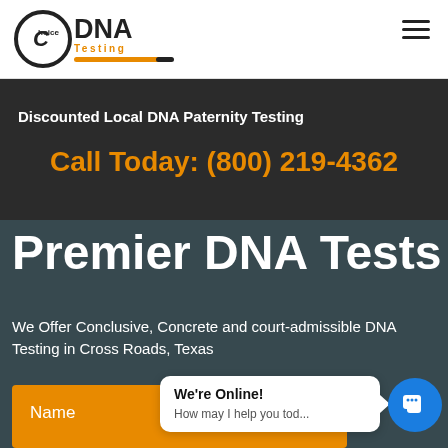[Figure (logo): Choice DNA Testing logo with circular C emblem and orange underline]
Discounted Local DNA Paternity Testing
Call Today: (800) 219-4362
Premier DNA Tests
We Offer Conclusive, Concrete and court-admissible DNA Testing in Cross Roads, Texas
Name
We're Online! How may I help you tod...